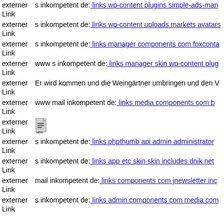externer Link   s inkompetent de: links wp-content plugins simple-ads-man...
externer Link   s inkompetent de: links wp-content uploads markets avatars...
externer Link   s inkompetent de: links manager components com foxconta...
externer Link   www s inkompetent de: links manager skin wp-content plug...
externer Link   Er wird kommen und die Weingärtner umbringen und den V...
externer Link   www mail inkompetent de: links media components com b...
externer Link   [icon]
externer Link   s inkompetent de: links phpthumb api admin administrator...
externer Link   s inkompetent de: links app etc skin skin includes dnik net
externer Link   mail inkompetent de: links components com jnewsletter inc...
externer Link   s inkompetent de: links admin components com media com...